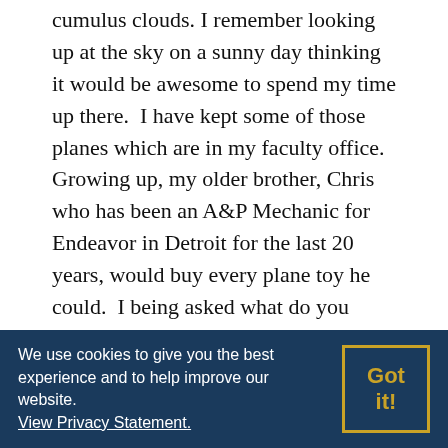cumulus clouds. I remember looking up at the sky on a sunny day thinking it would be awesome to spend my time up there.  I have kept some of those planes which are in my faculty office. Growing up, my older brother, Chris who has been an A&P Mechanic for Endeavor in Detroit for the last 20 years, would buy every plane toy he could.  I being asked what do you want to be when you grow up and the first thing I remember saying was “Pilot.”
Growing up, my parents had other ideas, and although I was destined for a University Education, Canadian Universities did not offer a professional pilot program like Kent does, even back in the mid 1990’s only one Community College in Canada Offered it. I had a strong aptitude for music, so my education took that trajectory, but I remember sneaking to the Windsor Airport when I was 16 and 17 after school to work on my private pilot’s license.
We use cookies to give you the best experience and to help improve our website. View Privacy Statement.